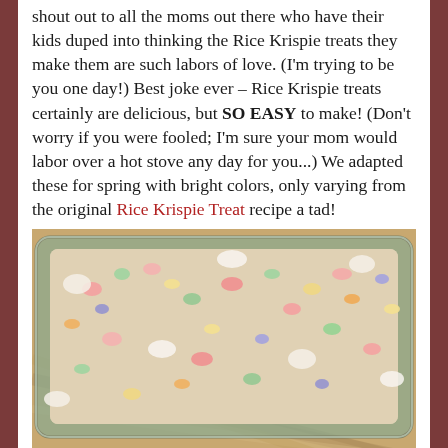shout out to all the moms out there who have their kids duped into thinking the Rice Krispie treats they make them are such labors of love. (I'm trying to be you one day!) Best joke ever – Rice Krispie treats certainly are delicious, but SO EASY to make! (Don't worry if you were fooled; I'm sure your mom would labor over a hot stove any day for you...) We adapted these for spring with bright colors, only varying from the original Rice Krispie Treat recipe a tad!
[Figure (photo): A glass baking dish filled with colorful spring-themed Rice Krispie treats with pastel colored marshmallows and cereal, sitting on a checkered cloth surface.]